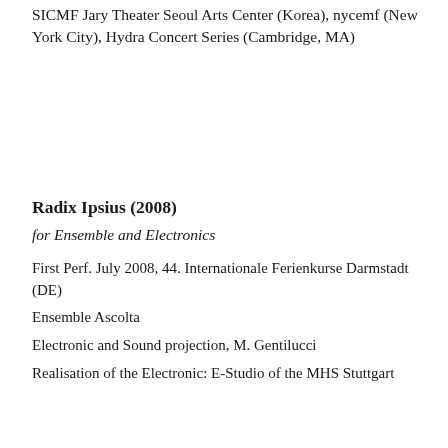SICMF Jary Theater Seoul Arts Center (Korea), nycemf (New York City), Hydra Concert Series (Cambridge, MA)
Radix Ipsius (2008)
for Ensemble and Electronics
First Perf. July 2008, 44. Internationale Ferienkurse Darmstadt (DE)
Ensemble Ascolta
Electronic and Sound projection, M. Gentilucci
Realisation of the Electronic: E-Studio of the MHS Stuttgart